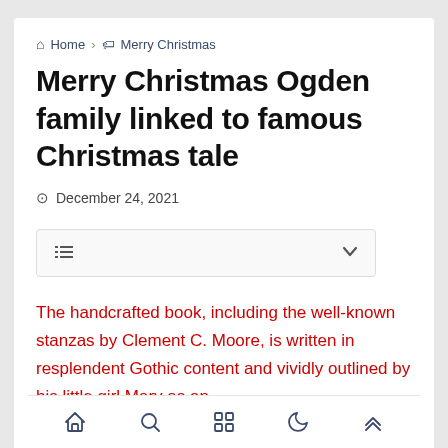Home > Merry Christmas
Merry Christmas Ogden family linked to famous Christmas tale
December 24, 2021
[Figure (other): Table of contents toggle widget with list icon and chevron down arrow]
The handcrafted book, including the well-known stanzas by Clement C. Moore, is written in resplendent Gothic content and vividly outlined by his little girl Mary as an
Navigation bar with home, search, grid, moon, and up-arrow icons